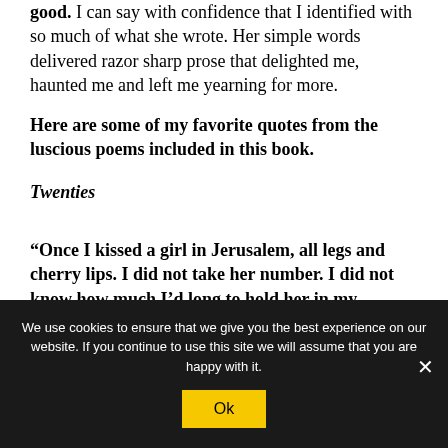good. I can say with confidence that I identified with so much of what she wrote. Her simple words delivered razor sharp prose that delighted me, haunted me and left me yearning for more.
Here are some of my favorite quotes from the luscious poems included in this book.
Twenties
“Once I kissed a girl in Jerusalem, all legs and cherry lips. I did not take her number. I did not know how much I’d long to hold her in my
We use cookies to ensure that we give you the best experience on our website. If you continue to use this site we will assume that you are happy with it.